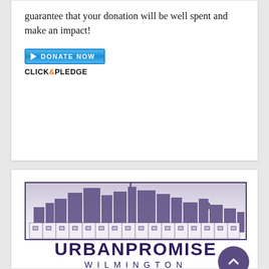guarantee that your donation will be well spent and make an impact!
[Figure (screenshot): Donate Now button with Click&Pledge branding — blue gradient button with play icon and 'DONATE NOW' text, below it 'CLICK&PLEDGE' logo text]
[Figure (logo): UrbanPromise Wilmington logo — city skyline silhouette in purple/grey gradient above row of urban buildings, with 'URBANPROMISE WILMINGTON' text below in dark purple]